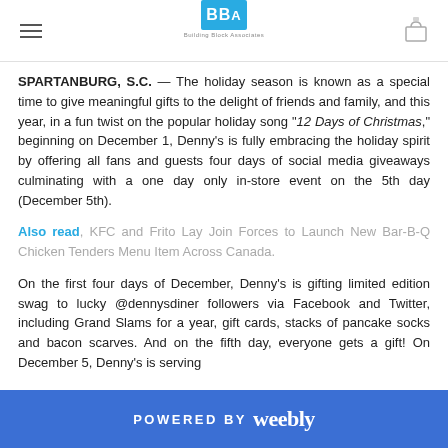Building Block Associates logo and navigation
SPARTANBURG, S.C. — The holiday season is known as a special time to give meaningful gifts to the delight of friends and family, and this year, in a fun twist on the popular holiday song "12 Days of Christmas," beginning on December 1, Denny's is fully embracing the holiday spirit by offering all fans and guests four days of social media giveaways culminating with a one day only in-store event on the 5th day (December 5th).
Also read, KFC and Frito Lay Join Forces to Launch New Bar-B-Q Chicken Tenders Menu Item Across Canada.
On the first four days of December, Denny's is gifting limited edition swag to lucky @dennysdiner followers via Facebook and Twitter, including Grand Slams for a year, gift cards, stacks of pancake socks and bacon scarves. And on the fifth day, everyone gets a gift! On December 5, Denny's is serving
POWERED BY weebly